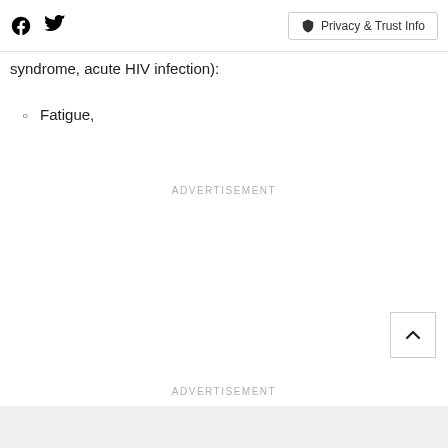Social icons (Facebook, Twitter) | Privacy & Trust Info
syndrome, acute HIV infection):
Fatigue,
ADVERTISEMENT
ADVERTISEMENT